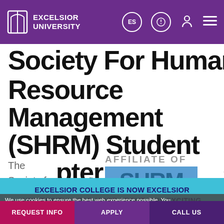EXCELSIOR UNIVERSITY
Society For Human Resource Management (SHRM) Student Chapter
The Society for Human Resource
[Figure (logo): SHRM logo - blue banner with 'SHRM' text, labeled 'AFFILIATE OF' above with registered trademark symbol]
We use cookies to ensure the best web experience possible. You can learn more about how we use cookies in our
EXCELSIOR COLLEGE IS NOW EXCELSIOR UNIVERSITY! READ MORE ABOUT THIS EXCITING CHANGE
REQUEST INFO   APPLY   CALL US